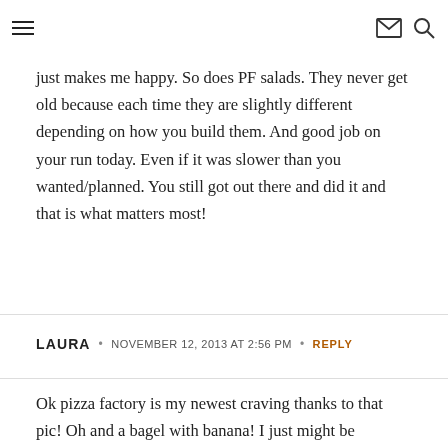≡ [menu icon] [mail icon] [search icon]
just makes me happy. So does PF salads. They never get old because each time they are slightly different depending on how you build them. And good job on your run today. Even if it was slower than you wanted/planned. You still got out there and did it and that is what matters most!
LAURA • NOVEMBER 12, 2013 AT 2:56 PM • REPLY
Ok pizza factory is my newest craving thanks to that pic! Oh and a bagel with banana! I just might be